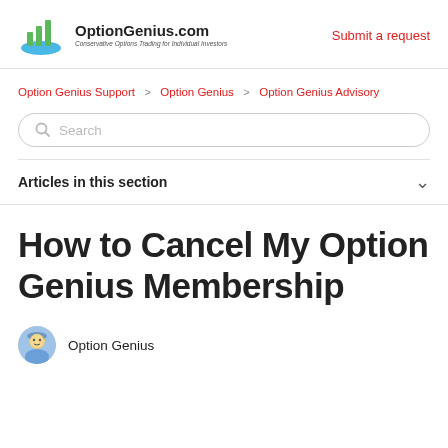OptionGenius.com — Conservative Options Trading for Individual Investors | Submit a request
Option Genius Support > Option Genius > Option Genius Advisory
Search
Articles in this section
How to Cancel My Option Genius Membership
Option Genius